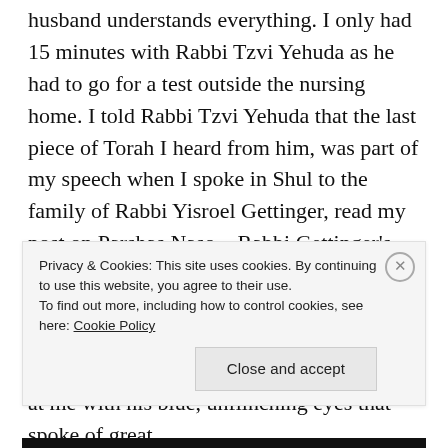husband understands everything. I only had 15 minutes with Rabbi Tzvi Yehuda as he had to go for a test outside the nursing home. I told Rabbi Tzvi Yehuda that the last piece of Torah I heard from him, was part of my speech when I spoke in Shul to the family of Rabbi Yisroel Gettinger, read my post on Parshas Naso.   Rabbi Gettinger's wife is a 3th or 4th cousin to Rabbi Tzvi Yehuda.  I also told Rabbi Tzvi Yehuda some of the Torah I heard from him over the last two years.  Rabbi Tzvi Yehuda looked at me with his blue, unflinching eyes that spoke of great
Privacy & Cookies: This site uses cookies. By continuing to use this website, you agree to their use.
To find out more, including how to control cookies, see here: Cookie Policy
Close and accept